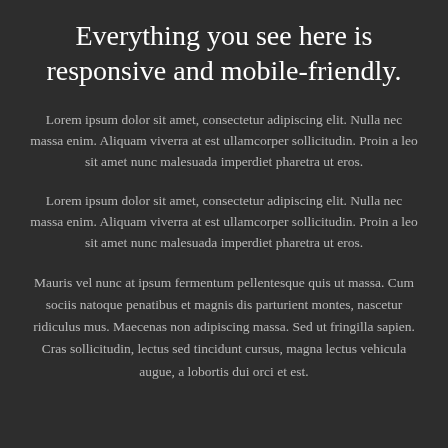Everything you see here is responsive and mobile-friendly.
Lorem ipsum dolor sit amet, consectetur adipiscing elit. Nulla nec massa enim. Aliquam viverra at est ullamcorper sollicitudin. Proin a leo sit amet nunc malesuada imperdiet pharetra ut eros.
Lorem ipsum dolor sit amet, consectetur adipiscing elit. Nulla nec massa enim. Aliquam viverra at est ullamcorper sollicitudin. Proin a leo sit amet nunc malesuada imperdiet pharetra ut eros.
Mauris vel nunc at ipsum fermentum pellentesque quis ut massa. Cum sociis natoque penatibus et magnis dis parturient montes, nascetur ridiculus mus. Maecenas non adipiscing massa. Sed ut fringilla sapien. Cras sollicitudin, lectus sed tincidunt cursus, magna lectus vehicula augue, a lobortis dui orci et est.